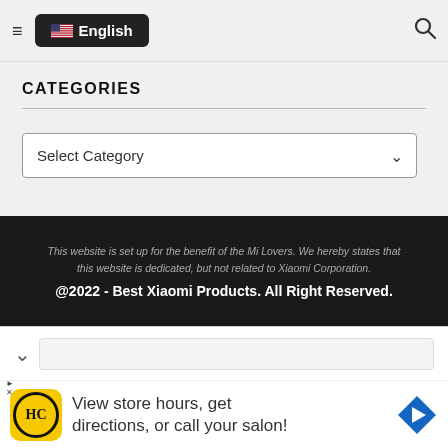≡  🇺🇸 English  🔍
CATEGORIES
[Figure (screenshot): A dropdown select box labeled 'Select Category' with a down-chevron arrow on the right.]
This website is set up for the benefit of the Mi Lovers. We hereby states that this website is dedicated, but not related to Xiaomi Corporation.
@2022 - Best Xiaomi Products. All Right Reserved.
[Figure (screenshot): Browser address bar with a down chevron icon and empty URL input field.]
[Figure (infographic): Advertisement banner: HC logo (yellow circle with HC text), text 'View store hours, get directions, or call your salon!', and a blue diamond navigation arrow icon.]